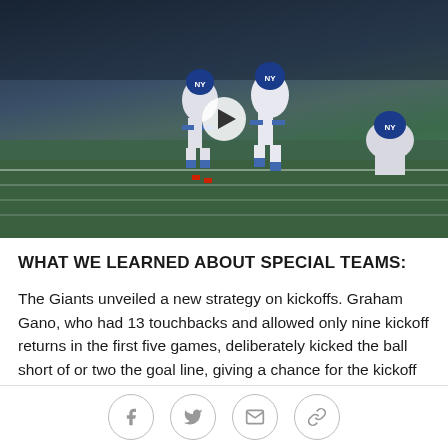[Figure (photo): Football players in New York Giants uniforms running on a field during a game, with players in white and blue uniforms visible. A video play button overlay is visible in the center.]
WHAT WE LEARNED ABOUT SPECIAL TEAMS:
The Giants unveiled a new strategy on kickoffs. Graham Gano, who had 13 touchbacks and allowed only nine kickoff returns in the first five games, deliberately kicked the ball short of or two the goal line, giving a chance for the kickoff team to stop Washington short of the 25-yard line.
A costly special teams penalty led to Washington's touchdown late in the second quarter. The Giants forced